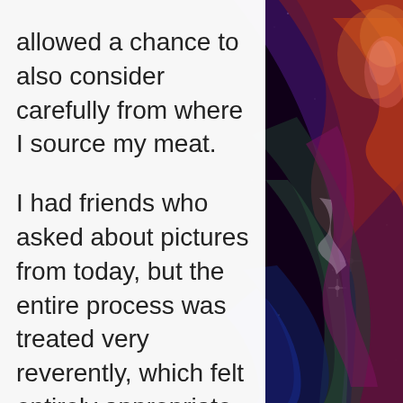[Figure (photo): Space nebula photograph showing colorful cosmic gas and dust clouds in shades of purple, red, orange, yellow, and blue against a dark starfield background, positioned on the right side of the page.]
allowed a chance to also consider carefully from where I source my meat.

I had friends who asked about pictures from today, but the entire process was treated very reverently, which felt entirely appropriate. I had come from visiting a Hospice patient, and to be